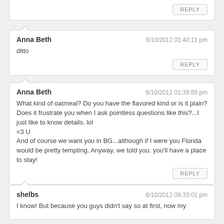REPLY
Anna Beth — 6/10/2012 01:40:11 pm
ditto
REPLY
Anna Beth — 6/10/2012 01:39:55 pm
What kind of oatmeal? Do you have the flavored kind or is it plain? Does it frustrate you when I ask pointless questions like this?...I just like to know details. lol
<3 U
And of course we want you in BG...although if I were you Florida would be pretty tempting. Anyway, we told you: you'll have a place to stay!
REPLY
shelbs — 6/10/2012 09:33:01 pm
I know! But because you guys didn't say so at first, now my